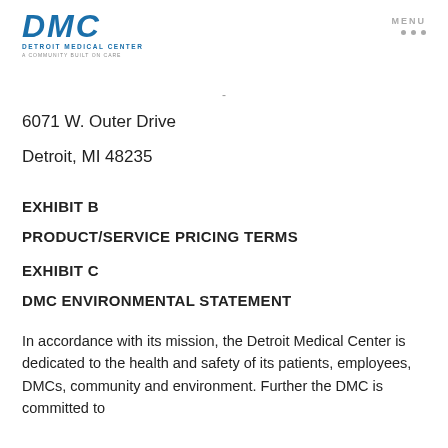[Figure (logo): DMC Detroit Medical Center logo with tagline 'A Community Built on Care']
6071 W. Outer Drive
Detroit, MI 48235
EXHIBIT B
PRODUCT/SERVICE PRICING TERMS
EXHIBIT C
DMC ENVIRONMENTAL STATEMENT
In accordance with its mission, the Detroit Medical Center is dedicated to the health and safety of its patients, employees, DMCs, community and environment. Further the DMC is committed to